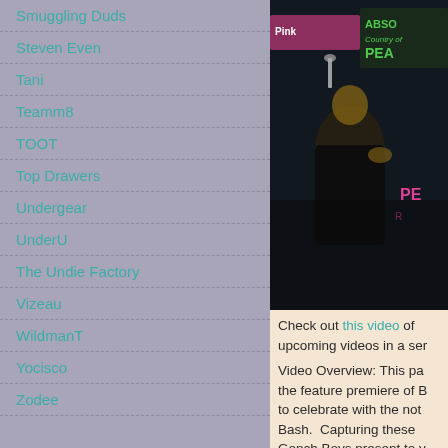Smuggling Duds
Steven Even
Tani
Teamm8
TOOT
Top Drawers
Undergear
UnderU
The Undie Factory
Vizeau
WildmanT
Yocisco
Zodee
[Figure (photo): A photo showing people at what appears to be an event related to 'Absolutely Peach', partially cropped on right side]
Check out this video of upcoming videos in a ser...
Video Overview: This pa... the feature premiere of B... to celebrate with the not... Bash. Capturing these ... Gonch Boys present to y...